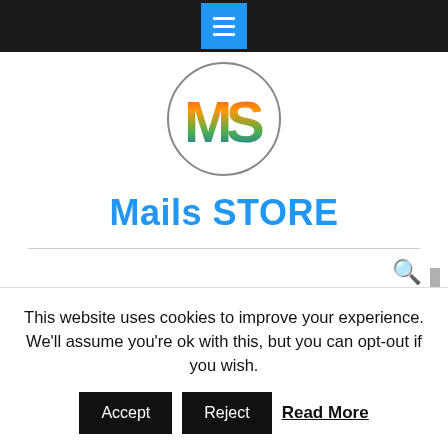Mails STORE — navigation bar with hamburger menu
[Figure (logo): Mails STORE logo: circle with colorful MS letters inside]
Mails STORE
Our Europe Rheumatologists Mailing Database Will Help You Market the Right Way
This website uses cookies to improve your experience. We'll assume you're ok with this, but you can opt-out if you wish.
Accept   Reject   Read More